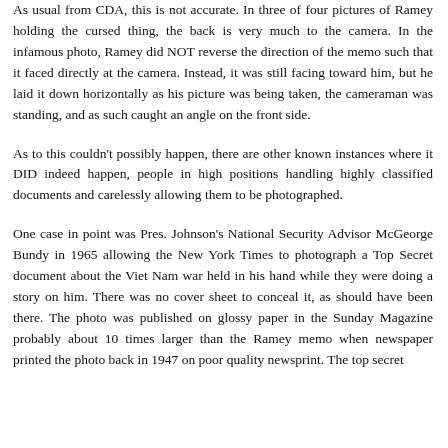As usual from CDA, this is not accurate. In three of four pictures of Ramey holding the cursed thing, the back is very much to the camera. In the infamous photo, Ramey did NOT reverse the direction of the memo such that it faced directly at the camera. Instead, it was still facing toward him, but he laid it down horizontally as his picture was being taken, the cameraman was standing, and as such caught an angle on the front side.
As to this couldn't possibly happen, there are other known instances where it DID indeed happen, people in high positions handling highly classified documents and carelessly allowing them to be photographed.
One case in point was Pres. Johnson's National Security Advisor McGeorge Bundy in 1965 allowing the New York Times to photograph a Top Secret document about the Viet Nam war held in his hand while they were doing a story on him. There was no cover sheet to conceal it, as should have been there. The photo was published on glossy paper in the Sunday Magazine probably about 10 times larger than the Ramey memo when newspaper printed the photo back in 1947 on poor quality newsprint. The top secret